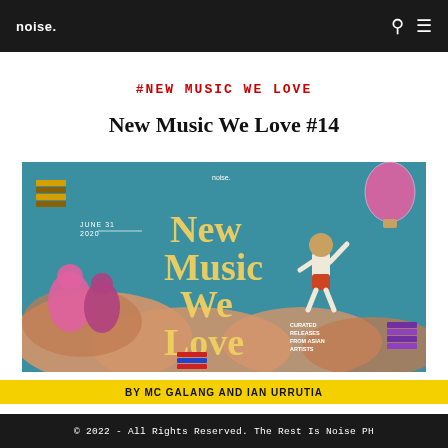noise.
#NEW MUSIC WE LOVE
New Music We Love #14
[Figure (illustration): Colorful editorial image for 'New Music We Love' series. Features a teal/turquoise sky background with large cream/yellow text reading 'New Music We Love'. A child in a school uniform jumps joyfully on the right. Pink-tinted figures sit on clouds on the left. A pink hot air balloon in upper right, decorative colorful stacked block shapes, and text reading 'JUNE 31 2020' and 'CURATED RELEASES FROM ASIAN ARTISTS'.]
BY MC GALANG AND IAN URRUTIA
© 2022 - All Rights Reserved. The Rest Is Noise PH